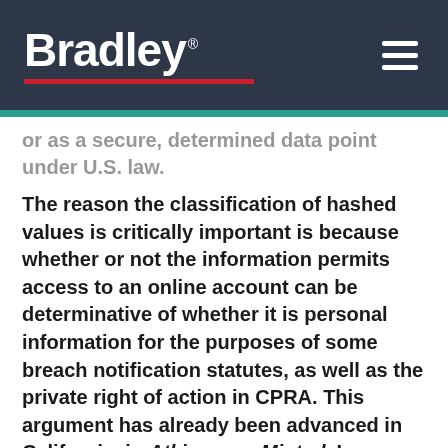[Figure (logo): Bradley law firm logo with white text on dark gray background and red underline]
or as a secure, determined data point under U.S. law.
The reason the classification of hashed values is critically important is because whether or not the information permits access to an online account can be determinative of whether it is personal information for the purposes of some breach notification statutes, as well as the private right of action in CPRA. This argument has already been advanced in California, in Atkinson v. Minted, Inc., 3:20-cv-03869-JS (N.D. Cal. June 2020) (see First